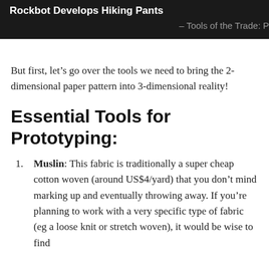Rockbot Develops Hiking Pants – Tools of the Trade: P
But first, let's go over the tools we need to bring the 2-dimensional paper pattern into 3-dimensional reality!
Essential Tools for Prototyping:
Muslin: This fabric is traditionally a super cheap cotton woven (around US$4/yard) that you don't mind marking up and eventually throwing away. If you're planning to work with a very specific type of fabric (eg a loose knit or stretch woven), it would be wise to find